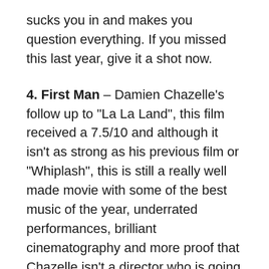sucks you in and makes you question everything. If you missed this last year, give it a shot now.
4. First Man – Damien Chazelle's follow up to "La La Land", this film received a 7.5/10 and although it isn't as strong as his previous film or "Whiplash", this is still a really well made movie with some of the best music of the year, underrated performances, brilliant cinematography and more proof that Chazelle isn't a director who is going to fizzle out anytime soon. He is here to stay and we as film